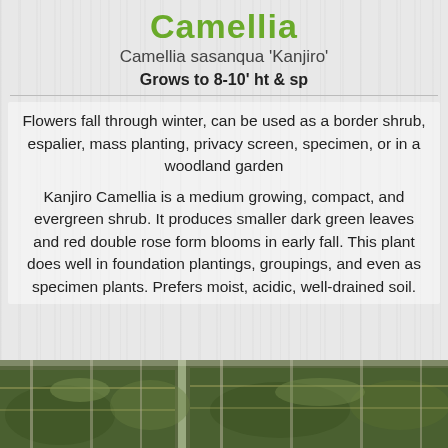Camellia
Camellia sasanqua 'Kanjiro'
Grows to 8-10' ht & sp
Flowers fall through winter, can be used as a border shrub, espalier, mass planting, privacy screen, specimen, or in a woodland garden
Kanjiro Camellia is a medium growing, compact, and evergreen shrub. It produces smaller dark green leaves and red double rose form blooms in early fall. This plant does well in foundation plantings, groupings, and even as specimen plants. Prefers moist, acidic, well-drained soil.
[Figure (photo): Photograph of Camellia sasanqua 'Kanjiro' plants in a nursery setting, showing dark green foliage and plant stakes]